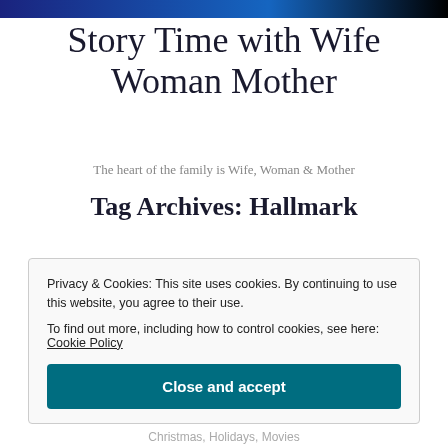Story Time with Wife Woman Mother
The heart of the family is Wife, Woman & Mother
Tag Archives: Hallmark
Privacy & Cookies: This site uses cookies. By continuing to use this website, you agree to their use.
To find out more, including how to control cookies, see here: Cookie Policy
Close and accept
Christmas, Holidays, Movies